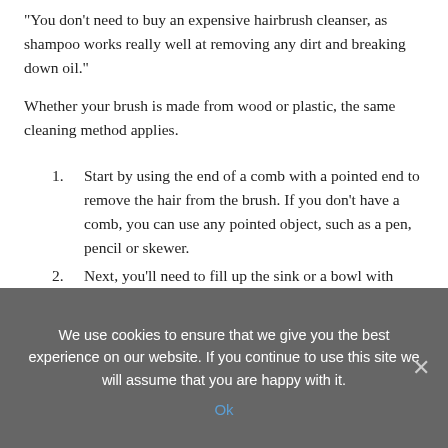“You don’t need to buy an expensive hairbrush cleanser, as shampoo works really well at removing any dirt and breaking down oil.”
Whether your brush is made from wood or plastic, the same cleaning method applies.
1. Start by using the end of a comb with a pointed end to remove the hair from the brush. If you don’t have a comb, you can use any pointed object, such as a pen, pencil or skewer.
2. Next, you’ll need to fill up the sink or a bowl with warm water and a small amount of shampoo. Soak the hairbrush
We use cookies to ensure that we give you the best experience on our website. If you continue to use this site we will assume that you are happy with it.
Ok